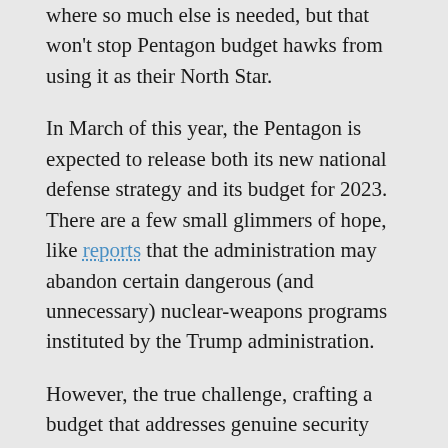where so much else is needed, but that won't stop Pentagon budget hawks from using it as their North Star.
In March of this year, the Pentagon is expected to release both its new national defense strategy and its budget for 2023. There are a few small glimmers of hope, like reports that the administration may abandon certain dangerous (and unnecessary) nuclear-weapons programs instituted by the Trump administration.
However, the true challenge, crafting a budget that addresses genuine security problems like public health and the climate crisis, would require fresh thinking and persistent public pressure to slash the Pentagon budget, while reducing the size of the military-industrial complex. Without a significant